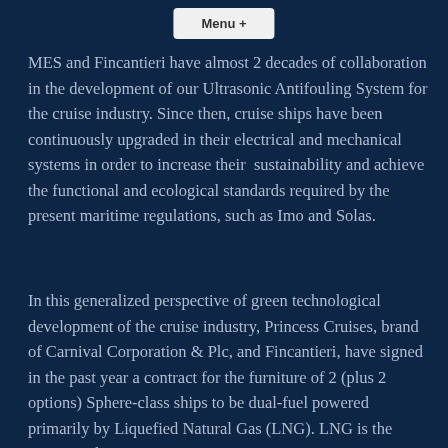MES and Fincantieri have almost 2 decades of collaboration in the development of our Ultrasonic Antifouling System for the cruise industry. Since then, cruise ships have been continuously upgraded in their electrical and mechanical systems in order to increase their sustainability and achieve the functional and ecological standards required by the present maritime regulations, such as Imo and Solas.
In this generalized perspective of green technological development of the cruise industry, Princess Cruises, brand of Carnival Corporation & Plc, and Fincantieri, have signed in the past year a contract for the furniture of 2 (plus 2 options) Sphere-class ships to be dual-fuel powered primarily by Liquefied Natural Gas (LNG). LNG is the marine industry's most